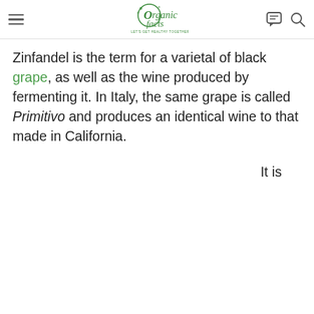Organic Facts — LET'S GET HEALTHY TOGETHER
Zinfandel is the term for a varietal of black grape, as well as the wine produced by fermenting it. In Italy, the same grape is called Primitivo and produces an identical wine to that made in California.
It is